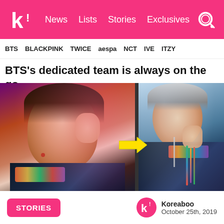k! News Lists Stories Exclusives
BTS  BLACKPINK  TWICE  aespa  NCT  IVE  ITZY
BTS's dedicated team is always on the go..
[Figure (photo): Two side-by-side photos of a BTS member in a colorful patterned jacket. Left photo shows him performing on stage with stage lighting; right photo shows him backstage holding up the jacket's decorated fringe. A yellow arrow points from left to right.]
STORIES
Koreaboo
October 25th, 2019